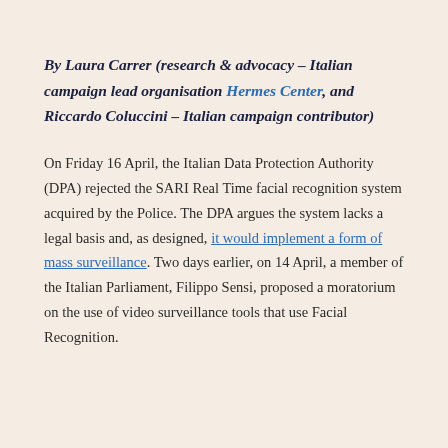By Laura Carrer (research & advocacy – Italian campaign lead organisation Hermes Center, and Riccardo Coluccini – Italian campaign contributor)
On Friday 16 April, the Italian Data Protection Authority (DPA) rejected the SARI Real Time facial recognition system acquired by the Police. The DPA argues the system lacks a legal basis and, as designed, it would implement a form of mass surveillance. Two days earlier, on 14 April, a member of the Italian Parliament, Filippo Sensi, proposed a moratorium on the use of video surveillance tools that use Facial Recognition.